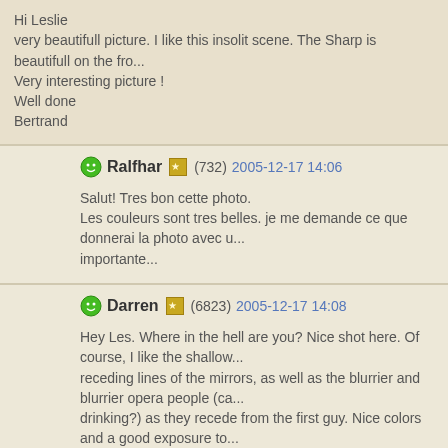Hi Leslie
very beautifull picture. I like this insolit scene. The Sharp is beautifull on the fro...
Very interesting picture !
Well done
Bertrand
Ralfhar (732) 2005-12-17 14:06
Salut! Tres bon cette photo.
Les couleurs sont tres belles. je me demande ce que donnerai la photo avec u...
importante...
Darren (6823) 2005-12-17 14:08
Hey Les. Where in the hell are you? Nice shot here. Of course, I like the shallow...
receding lines of the mirrors, as well as the blurrier and blurrier opera people (ca...
drinking?) as they recede from the first guy. Nice colors and a good exposure to...
operaguy was looking towards you just a bit, but overall this is really good.

Where in the world are you now?
markoci (3933) 2005-12-17 16:13